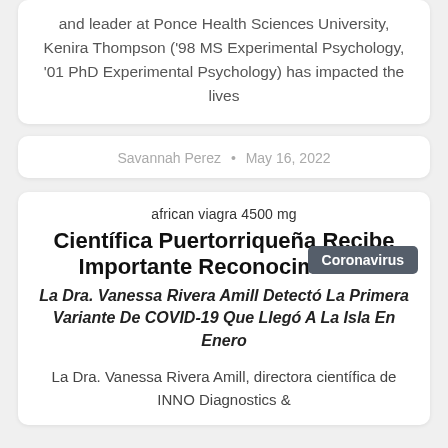and leader at Ponce Health Sciences University, Kenira Thompson ('98 MS Experimental Psychology, '01 PhD Experimental Psychology) has impacted the lives
Savannah Perez  •  May 16, 2022
african viagra 4500 mg
Coronavirus
Científica Puertorriqueña Recibe Importante Reconocimiento
La Dra. Vanessa Rivera Amill Detectó La Primera Variante De COVID-19 Que Llegó A La Isla En Enero
La Dra. Vanessa Rivera Amill, directora científica de INNO Diagnostics &